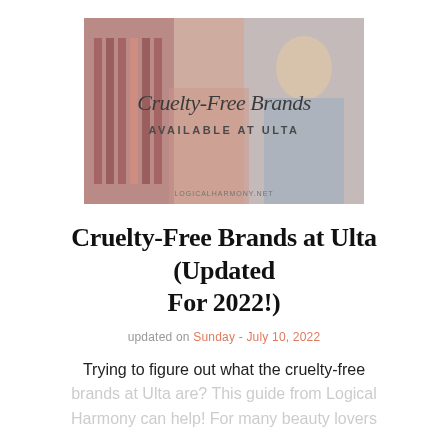[Figure (photo): Promotional image with text overlay reading 'Cruelty-Free Brands Available at Ulta' on a background showing beauty products and a person browsing at Ulta. Website logicalharmony.net shown at bottom.]
Cruelty-Free Brands at Ulta (Updated For 2022!)
updated on Sunday - July 10, 2022
Trying to figure out what the cruelty-free brands at Ulta are? This guide from Logical Harmony can help! For many beauty lovers